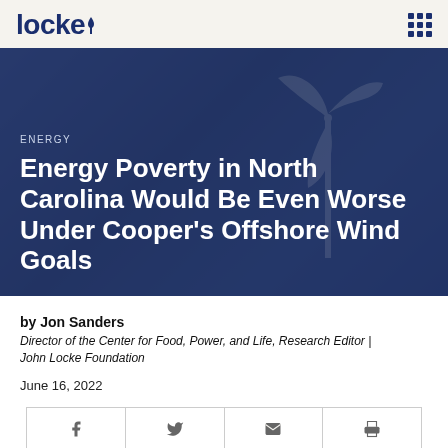locke | [grid menu icon]
[Figure (photo): Dark blue hero image with faint wind turbine silhouette in background, overlaid with text: category tag ENERGY and article title]
ENERGY
Energy Poverty in North Carolina Would Be Even Worse Under Cooper's Offshore Wind Goals
by Jon Sanders
Director of the Center for Food, Power, and Life, Research Editor | John Locke Foundation
June 16, 2022
[Figure (infographic): Social sharing bar with four buttons: Facebook (f), Twitter (bird), email (envelope), print (printer)]